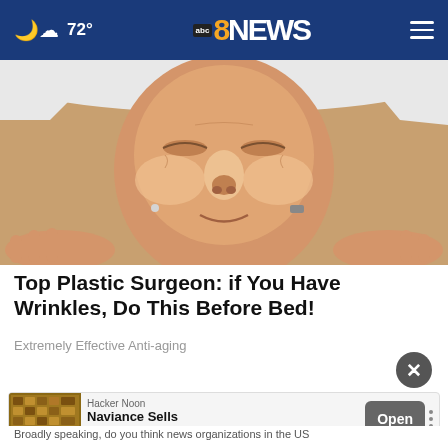72° abc 8NEWS
[Figure (photo): Close-up of a woman lying down with a white towel around her head, eyes closed, face appearing to be receiving a facial treatment or skincare procedure]
Top Plastic Surgeon: if You Have Wrinkles, Do This Before Bed!
Extremely Effective Anti-aging
[Figure (screenshot): Advertisement banner: Hacker Noon - Naviance Sells Student Access - Open button]
Broadly speaking, do you think news organizations in the US